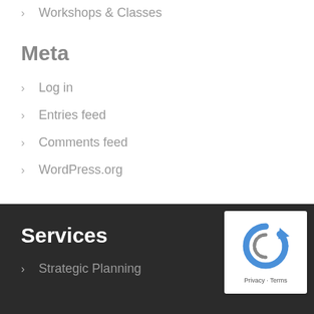Workshops & Classes
Meta
Log in
Entries feed
Comments feed
WordPress.org
Services
[Figure (other): reCAPTCHA badge with arrow icon, Privacy and Terms links]
Strategic Planning